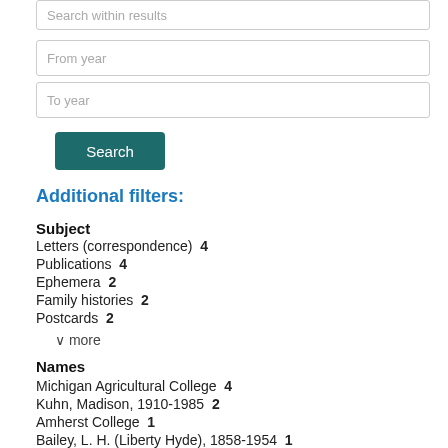Search within results
From year
To year
Search
Additional filters:
Subject
Letters (correspondence)  4
Publications  4
Ephemera  2
Family histories  2
Postcards  2
∨ more
Names
Michigan Agricultural College  4
Kuhn, Madison, 1910-1985  2
Amherst College  1
Bailey, L. H. (Liberty Hyde), 1858-1954  1